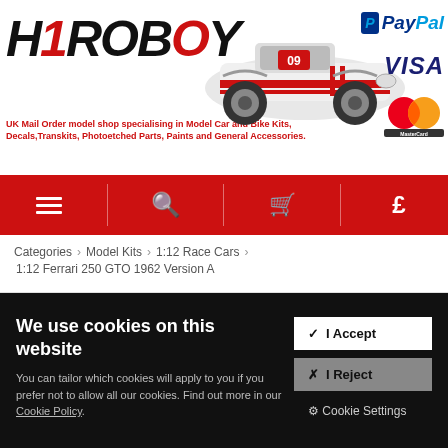[Figure (logo): Hiroboy logo with stylized text and racing car graphic, plus PayPal, Visa, MasterCard payment logos]
UK Mail Order model shop specialising in Model Car and Bike Kits, Decals, Transkits, Photoetched Parts, Paints and General Accessories.
[Figure (infographic): Red navigation bar with hamburger menu, search, cart, and currency icons]
Categories › Model Kits › 1:12 Race Cars › 1:12 Ferrari 250 GTO 1962 Version A
We use cookies on this website
You can tailor which cookies will apply to you if you prefer not to allow all our cookies. Find out more in our Cookie Policy.
✔ I Accept
✖ I Reject
⚙ Cookie Settings